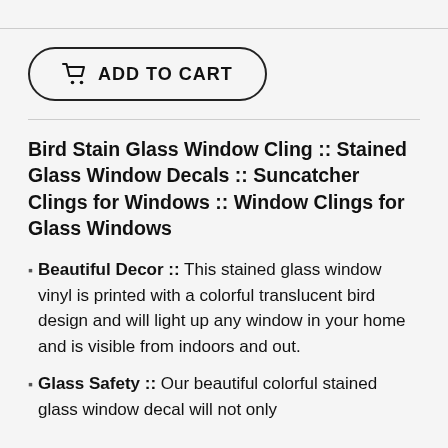[Figure (other): Partial product image visible at top of page (cropped)]
ADD TO CART
Bird Stain Glass Window Cling :: Stained Glass Window Decals :: Suncatcher Clings for Windows :: Window Clings for Glass Windows
Beautiful Decor :: This stained glass window vinyl is printed with a colorful translucent bird design and will light up any window in your home and is visible from indoors and out.
Glass Safety :: Our beautiful colorful stained glass window decal will not only